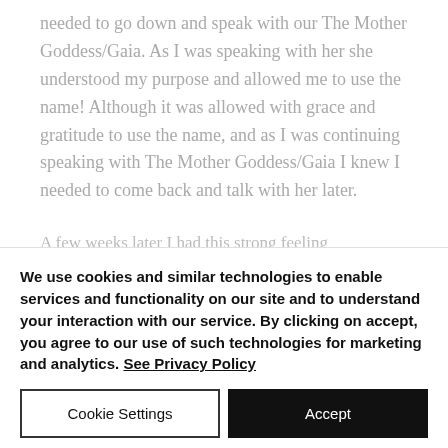needed to go down and speak with our The Mother Goddess/Gaia. As I was speaking with her she understood my purpose and allowed me to use the name!  Although it was allowed with grace and gratitude to use the name, and as I was continuing speaking with The Mother Goddess/Gaia I knew I needed to come back and talk with her later.
A few weeks later I had this strong feeling
We use cookies and similar technologies to enable services and functionality on our site and to understand your interaction with our service. By clicking on accept, you agree to our use of such technologies for marketing and analytics. See Privacy Policy
Cookie Settings
Accept